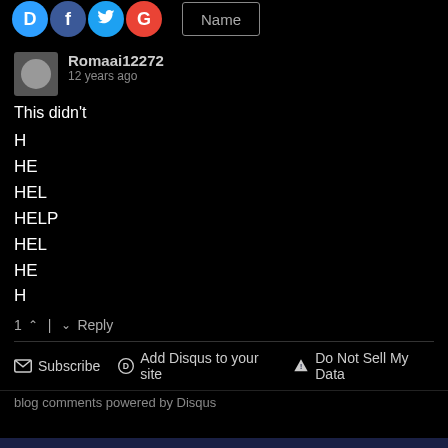[Figure (screenshot): Top bar with social login icons (Disqus, Facebook, Twitter, Google) and a Name input field]
Romaai12272
12 years ago
This didn't

H
HE
HEL
HELP
HEL
HE
H
1 ^ | v Reply
Subscribe  Add Disqus to your site  Do Not Sell My Data
blog comments powered by Disqus
North America - Mexico & United States 🇺🇸